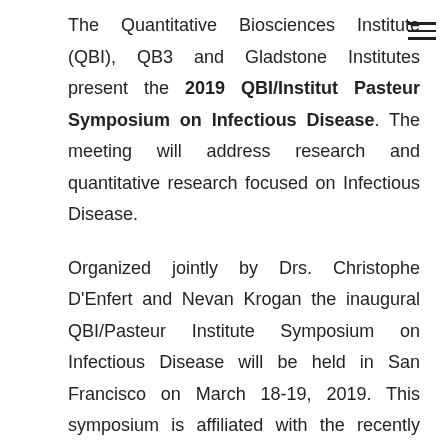The Quantitative Biosciences Institute (QBI), QB3 and Gladstone Institutes present the 2019 QBI/Institut Pasteur Symposium on Infectious Disease. The meeting will address research and quantitative research focused on Infectious Disease.
Organized jointly by Drs. Christophe D'Enfert and Nevan Krogan the inaugural QBI/Pasteur Institute Symposium on Infectious Disease will be held in San Francisco on March 18-19, 2019. This symposium is affiliated with the recently formed Host-Pathogen Map Initiative (HPMI), a collaborative effort between QBI/UCSF and UC Berkeley.